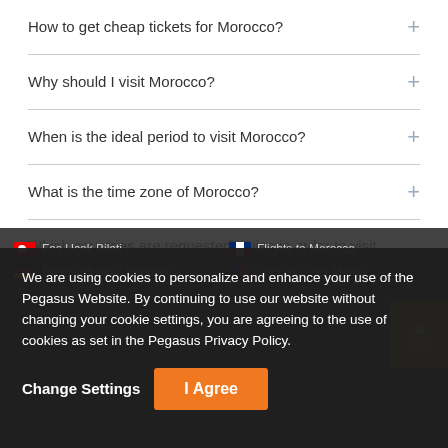How to get cheap tickets for Morocco?
Why should I visit Morocco?
When is the ideal period to visit Morocco?
What is the time zone of Morocco?
Which countries are requested a visa in order to visit Morocco?
What is the national currency of Morocco?
We are using cookies to personalize and enhance your use of the Pegasus Website. By continuing to use our website without changing your cookie settings, you are agreeing to the use of cookies as set in the Pegasus Privacy Policy.
Change Settings | I Agree